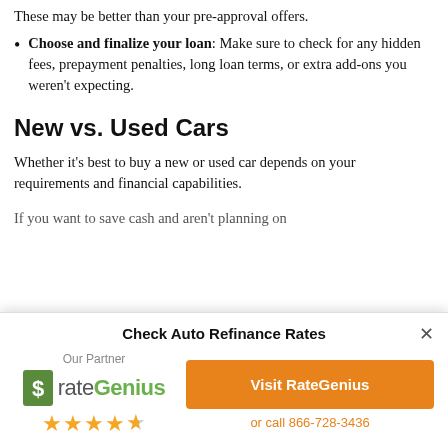These may be better than your pre-approval offers.
Choose and finalize your loan: Make sure to check for any hidden fees, prepayment penalties, long loan terms, or extra add-ons you weren't expecting.
New vs. Used Cars
Whether it's best to buy a new or used car depends on your requirements and financial capabilities.
If you want to save cash and aren't planning on
[Figure (infographic): Popup widget for 'Check Auto Refinance Rates' featuring rateGenius partner logo with 4.5 star rating, 'Visit RateGenius' orange button, and 'or call 866-728-3436' link. Has a close (X) button in top right corner.]